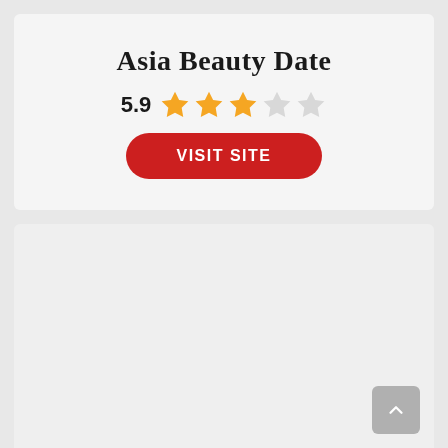Asia Beauty Date
5.9 ★★★☆☆
VISIT SITE
[Figure (screenshot): Lower card area with gray background, partially visible content area]